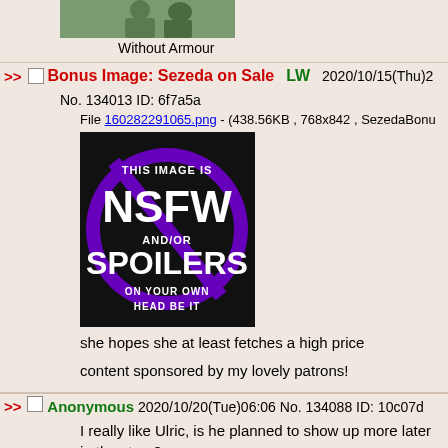[Figure (illustration): Partial view of a green-background illustration showing a character without armour]
Without Armour
Bonus Image: Sezeda on Sale LW 2020/10/15(Thu)2...
No. 134013 ID: 6f7a5a
File 160282291065.png - (438.56KB , 768x842 , SezedaBonus...)
[Figure (illustration): NSFW/Spoilers warning image: black background with purple circle-slash graphic. Text reads: THIS IMAGE IS NSFW AND/OR SPOILERS ON YOUR OWN HEAD BE IT]
she hopes she at least fetches a high price
content sponsored by my lovely patrons!
Anonymous 2020/10/20(Tue)06:06 No. 134088 ID: 10c07d
I really like Ulric, is he planned to show up more later in the story?